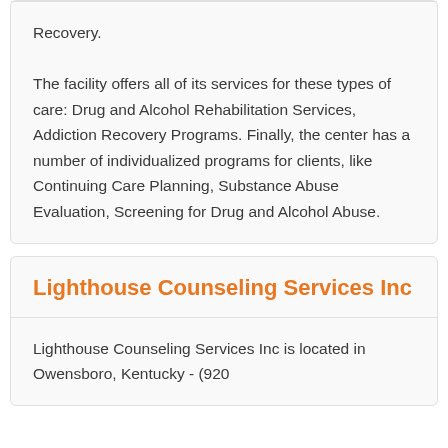Recovery. The facility offers all of its services for these types of care: Drug and Alcohol Rehabilitation Services, Addiction Recovery Programs. Finally, the center has a number of individualized programs for clients, like Continuing Care Planning, Substance Abuse Evaluation, Screening for Drug and Alcohol Abuse.
Lighthouse Counseling Services Inc
Lighthouse Counseling Services Inc is located in Owensboro, Kentucky - (920